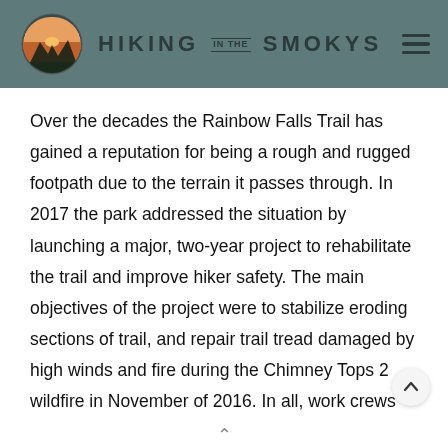HIKING IN THE SMOKYS
Over the decades the Rainbow Falls Trail has gained a reputation for being a rough and rugged footpath due to the terrain it passes through. In 2017 the park addressed the situation by launching a major, two-year project to rehabilitate the trail and improve hiker safety. The main objectives of the project were to stabilize eroding sections of trail, and repair trail tread damaged by high winds and fire during the Chimney Tops 2 wildfire in November of 2016. In all, work crews installed over 350 steps through steep,